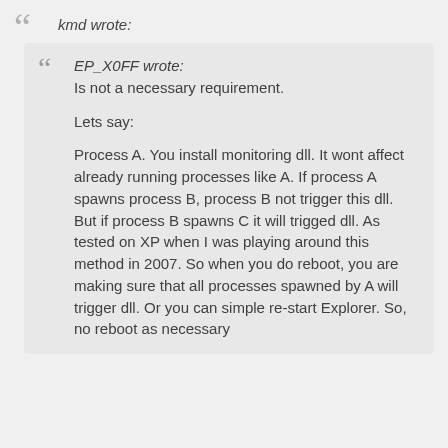kmd wrote:
EP_X0FF wrote:
Is not a necessary requirement.

Lets say:

Process A. You install monitoring dll. It wont affect already running processes like A. If process A spawns process B, process B not trigger this dll. But if process B spawns C it will trigged dll. As tested on XP when I was playing around this method in 2007. So when you do reboot, you are making sure that all processes spawned by A will trigger dll. Or you can simple re-start Explorer. So, no reboot as necessary